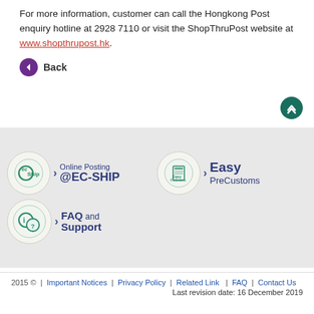For more information, customer can call the Hongkong Post enquiry hotline at 2928 7110 or visit the ShopThruPost website at www.shopthrupost.hk.
← Back
[Figure (infographic): Footer navigation banner with three items: ec-Ship (Online Posting @EC-SHIP), EasyPreCustoms (Easy PreCustoms), and FAQ and Support, each with a circular icon and chevron arrow on a light gray background.]
2015 © | Important Notices | Privacy Policy | Related Link | FAQ | Contact Us
Last revision date: 16 December 2019